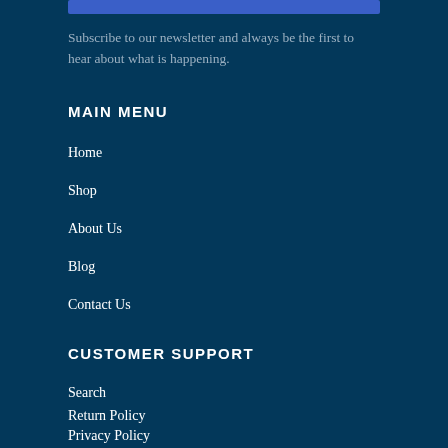[Figure (other): Blue horizontal bar at top of page]
Subscribe to our newsletter and always be the first to hear about what is happening.
MAIN MENU
Home
Shop
About Us
Blog
Contact Us
CUSTOMER SUPPORT
Search
Return Policy
Privacy Policy
Terms of Service